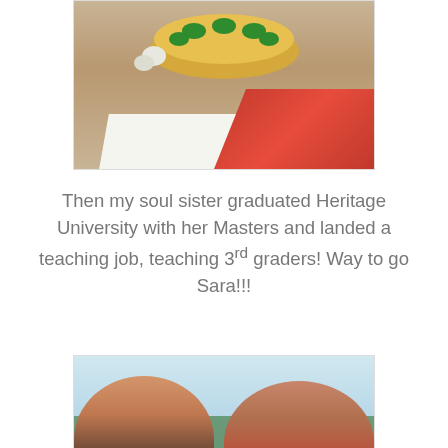[Figure (photo): Partial view of a decorated cake on a gold plate with green frosting decorations, set against a white cloth and red tablecloth background]
Then my soul sister graduated Heritage University with her Masters and landed a teaching job, teaching 3rd graders! Way to go Sara!!!
[Figure (photo): Two women taking a selfie outdoors. The woman on the left has dark hair and is wearing a black top. The woman on the right is wearing glasses and a red top, with tattoos visible on her chest. Green grass and trees are visible in the background.]